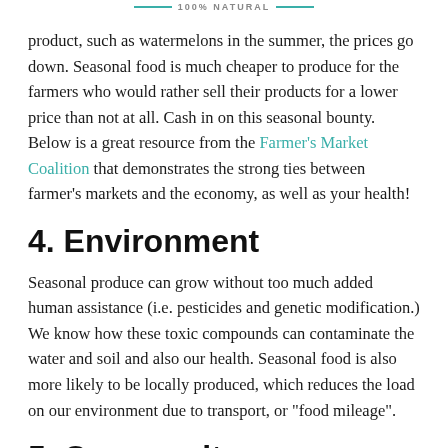100% NATURAL
product, such as watermelons in the summer, the prices go down. Seasonal food is much cheaper to produce for the farmers who would rather sell their products for a lower price than not at all. Cash in on this seasonal bounty. Below is a great resource from the Farmer's Market Coalition that demonstrates the strong ties between farmer's markets and the economy, as well as your health!
4. Environment
Seasonal produce can grow without too much added human assistance (i.e. pesticides and genetic modification.) We know how these toxic compounds can contaminate the water and soil and also our health. Seasonal food is also more likely to be locally produced, which reduces the load on our environment due to transport, or "food mileage".
5. Community